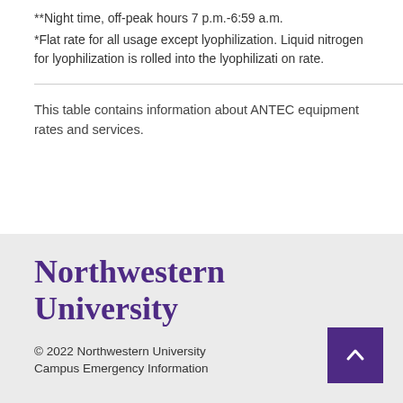**Night time, off-peak hours 7 p.m.-6:59 a.m.
*Flat rate for all usage except lyophilization. Liquid nitrogen for lyophilization is rolled into the lyophilization rate.
This table contains information about ANTEC equipment rates and services.
Northwestern University
© 2022 Northwestern University
Campus Emergency Information